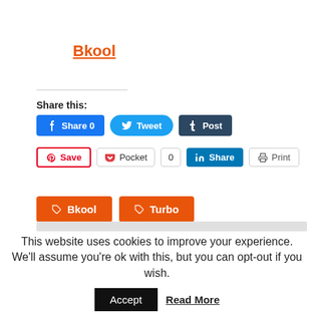Bkool
Share this:
[Figure (screenshot): Social share buttons row 1: Facebook Share 0, Tweet, Post (Tumblr)]
[Figure (screenshot): Social share buttons row 2: Pinterest Save, Pocket 0, LinkedIn Share, Print]
[Figure (screenshot): Tag buttons: Bkool, Turbo (orange background)]
This website uses cookies to improve your experience. We'll assume you're ok with this, but you can opt-out if you wish.
Accept   Read More